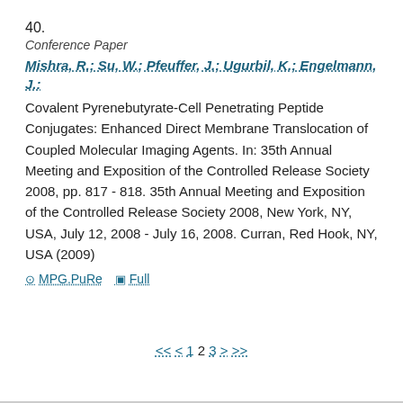40.
Conference Paper
Mishra, R.; Su, W.; Pfeuffer, J.; Ugurbil, K.; Engelmann, J.:
Covalent Pyrenebutyrate-Cell Penetrating Peptide Conjugates: Enhanced Direct Membrane Translocation of Coupled Molecular Imaging Agents. In: 35th Annual Meeting and Exposition of the Controlled Release Society 2008, pp. 817 - 818. 35th Annual Meeting and Exposition of the Controlled Release Society 2008, New York, NY, USA, July 12, 2008 - July 16, 2008. Curran, Red Hook, NY, USA (2009)
⊙ MPG.PuRe   ▣ Full
<< < 1 2 3 > >>